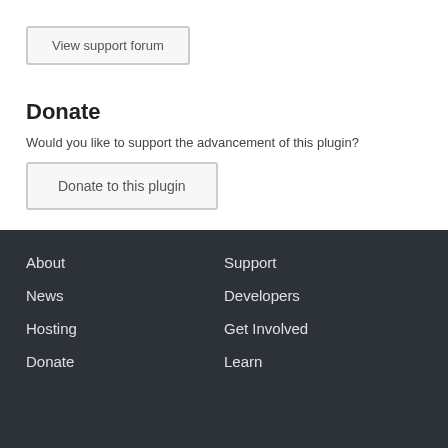View support forum
Donate
Would you like to support the advancement of this plugin?
Donate to this plugin
About
Support
News
Developers
Hosting
Get Involved
Donate
Learn